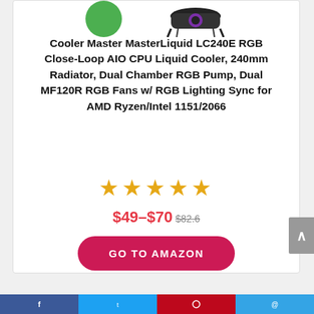[Figure (photo): Product image of Cooler Master MasterLiquid LC240E RGB liquid cooler with a green circle logo/badge on the left and the cooler radiator image on the right]
Cooler Master MasterLiquid LC240E RGB Close-Loop AIO CPU Liquid Cooler, 240mm Radiator, Dual Chamber RGB Pump, Dual MF120R RGB Fans w/ RGB Lighting Sync for AMD Ryzen/Intel 1151/2066
★★★★★
$49–$70 $82.6
GO TO AMAZON